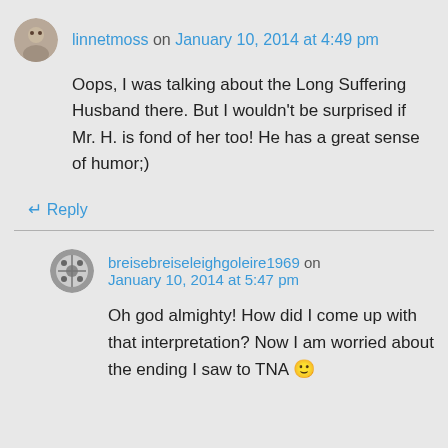linnetmoss on January 10, 2014 at 4:49 pm
Oops, I was talking about the Long Suffering Husband there. But I wouldn't be surprised if Mr. H. is fond of her too! He has a great sense of humor;)
↵ Reply
breisebreiseleighgoleire1969 on January 10, 2014 at 5:47 pm
Oh god almighty! How did I come up with that interpretation? Now I am worried about the ending I saw to TNA 🙂